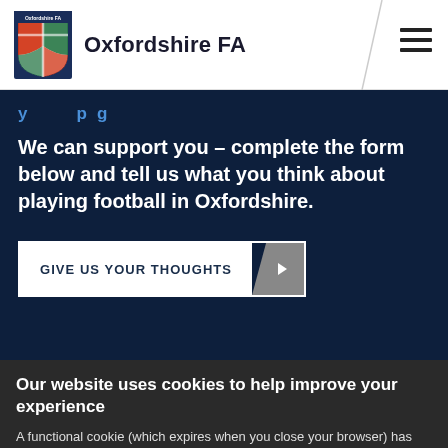Oxfordshire FA
We can support you – complete the form below and tell us what you think about playing football in Oxfordshire.
GIVE US YOUR THOUGHTS
Our website uses cookies to help improve your experience
A functional cookie (which expires when you close your browser) has already been placed on your machine. More details
ACCEPT COOKIES